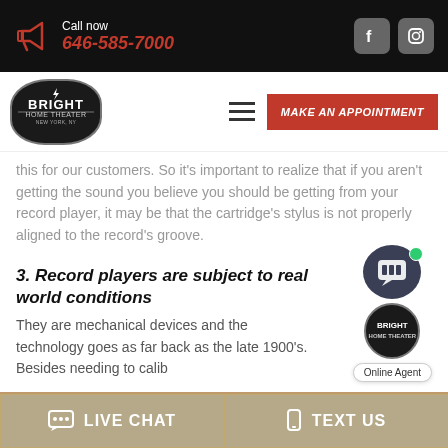Call now 646-585-7000
[Figure (logo): Bright Home Theater logo badge]
this for our customers. So it's important to realize that if you aren't getting the sound you believe you should be getting from your record player, it may be that the cartridge's stylus is not properly aligned to the record's groove.
3. Record players are subject to real world conditions
They are mechanical devices and the technology goes as far back as the late 1900's. Besides needing to calib...
LIVE CHAT   TEXT US